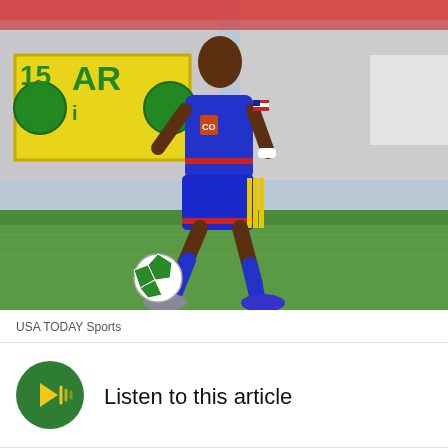[Figure (photo): A soccer player wearing blue Colorado Rapids jersey number 55 dribbling a soccer ball on a green field, with stadium stands and advertising banners visible in the background.]
USA TODAY Sports
[Figure (other): Green circular audio play button with yellow sound wave icon — Listen to this article player]
Listen to this article
Both the New York Cosmos and Colorado Rapids have confirmed today that forward Danny Mwanga will be